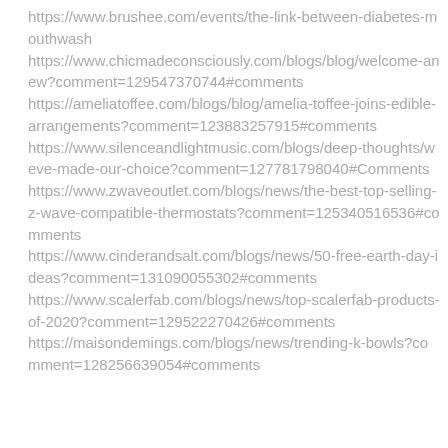https://www.brushee.com/events/the-link-between-diabetes-mouthwash
https://www.chicmadeconsciously.com/blogs/blog/welcome-anew?comment=129547370744#comments
https://ameliatoffee.com/blogs/blog/amelia-toffee-joins-edible-arrangements?comment=123883257915#comments
https://www.silenceandlightmusic.com/blogs/deep-thoughts/weve-made-our-choice?comment=127781798040#Comments
https://www.zwaveoutlet.com/blogs/news/the-best-top-selling-z-wave-compatible-thermostats?comment=125340516536#comments
https://www.cinderandsalt.com/blogs/news/50-free-earth-day-ideas?comment=131090055302#comments
https://www.scalerfab.com/blogs/news/top-scalerfab-products-of-2020?comment=129522270426#comments
https://maisondemings.com/blogs/news/trending-k-bowls?comment=128256639054#comments